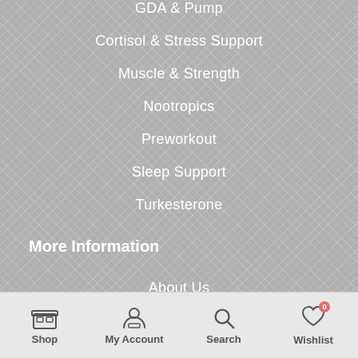GDA & Pump
Cortisol & Stress Support
Muscle & Strength
Nootropics
Preworkout
Sleep Support
Turkesterone
More Information
About Us
FAQ
Shipping Policy
Terms & Conditions
Shop | My Account | Search | Wishlist